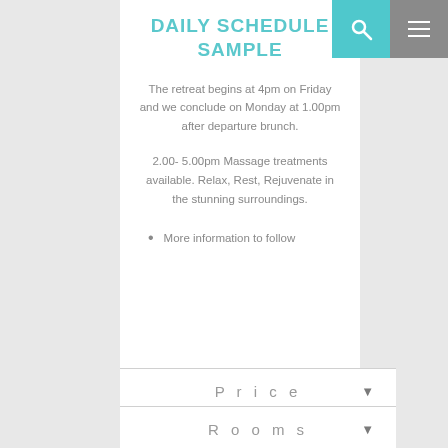DAILY SCHEDULE SAMPLE
The retreat begins at 4pm on Friday and we conclude on Monday at 1.00pm after departure brunch.
2.00- 5.00pm Massage treatments available. Relax, Rest, Rejuvenate in the stunning surroundings.
More information to follow
Price
Rooms